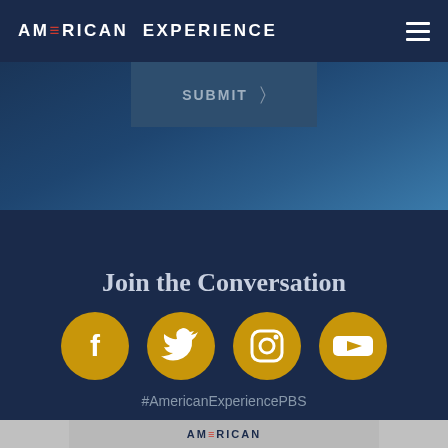AMERICAN EXPERIENCE
[Figure (screenshot): Submit button with right arrow chevron on dark blue background]
Join the Conversation
[Figure (infographic): Four social media icons (Facebook, Twitter, Instagram, YouTube) as gold circles on dark navy background]
#AmericanExperiencePBS
[Figure (logo): Partial American Experience PBS logo at bottom of page on gray background]